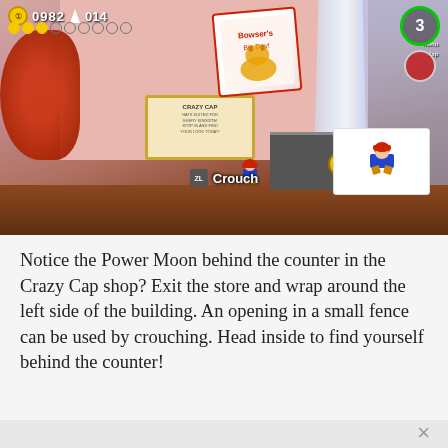[Figure (screenshot): Super Mario Odyssey gameplay screenshot showing Mario crouching near the Crazy Cap shop. HUD shows 0982 coins and 014 lives top-left, 3 Power Moons top-right. A shop sign is visible in the background with a Bowser wedding poster. A hint box shows Mario crouching with 'ZL Crouch' button prompt. Mario character visible at lower center, game counter/booth visible in mid-right area.]
Notice the Power Moon behind the counter in the Crazy Cap shop? Exit the store and wrap around the left side of the building. An opening in a small fence can be used by crouching. Head inside to find yourself behind the counter!
44. Sand Kingdom Slots